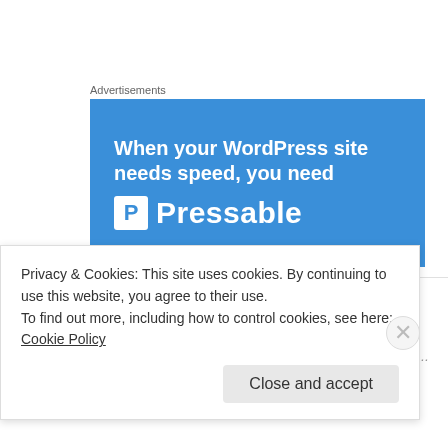Advertisements
[Figure (illustration): Pressable advertisement banner: blue background with white bold text 'When your WordPress site needs speed, you need' and Pressable logo with P icon]
The Sacred Cowtipper on August 7, 2014 at 19:22
Privacy & Cookies: This site uses cookies. By continuing to use this website, you agree to their use.
To find out more, including how to control cookies, see here: Cookie Policy
Close and accept